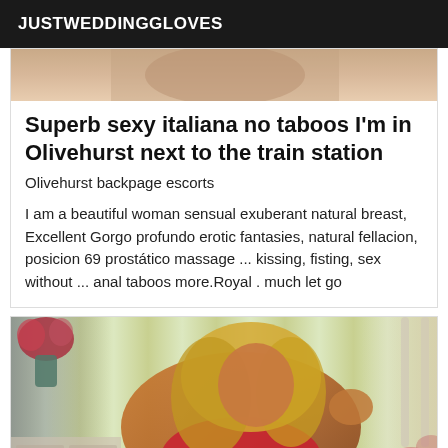JUSTWEDDINGGLOVES
[Figure (photo): Partial photo of a woman at top of card, cropped]
Superb sexy italiana no taboos I'm in Olivehurst next to the train station
Olivehurst backpage escorts
I am a beautiful woman sensual exuberant natural breast, Excellent Gorgo profundo erotic fantasies, natural fellacion, posicion 69 prostático massage ... kissing, fisting, sex without ... anal taboos more.Royal . much let go
[Figure (photo): Photo of a blonde woman in red lingerie posing on a bed with striped wallpaper background]